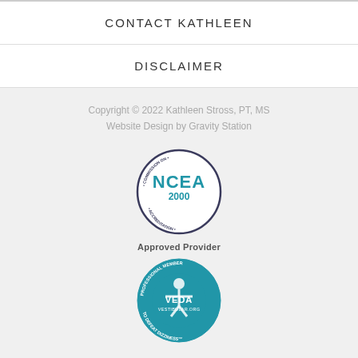CONTACT KATHLEEN
DISCLAIMER
Copyright © 2022 Kathleen Stross, PT, MS
Website Design by Gravity Station
[Figure (logo): NCEA Commission on Accreditation 2000 Approved Provider circular badge logo]
Approved Provider
[Figure (logo): VEDA Vestibular.org Professional Member To Defeat Dizziness circular badge logo]